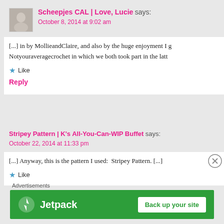Scheepjes CAL | Love, Lucie says: October 8, 2014 at 9:02 am
[...] in by MollieandClaire, and also by the huge enjoyment I g Notyouraveragecrochet in which we both took part in the latt
Like
Reply
Stripey Pattern | K's All-You-Can-WIP Buffet says: October 22, 2014 at 11:33 pm
[...] Anyway, this is the pattern I used:  Stripey Pattern. [...]
Like
[Figure (infographic): Jetpack advertisement banner with green background, Jetpack logo on left, and 'Back up your site' button on right]
Advertisements